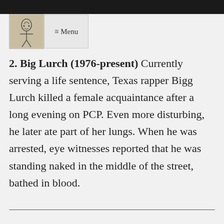[Figure (illustration): Small logo/icon image in top-left corner showing a stylized figure drawing]
≡ Menu
2. Big Lurch (1976-present) Currently serving a life sentence, Texas rapper Bigg Lurch killed a female acquaintance after a long evening on PCP. Even more disturbing, he later ate part of her lungs. When he was arrested, eye witnesses reported that he was standing naked in the middle of the street, bathed in blood.